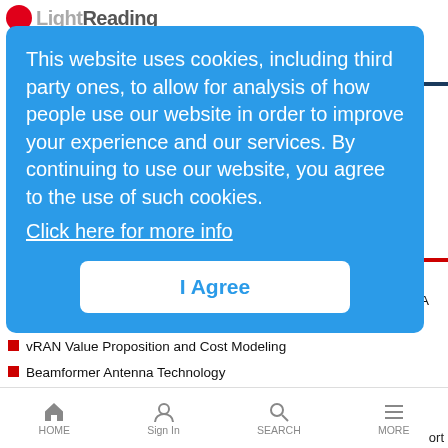Light Reading
This website uses cookies, including third party ones, to allow for analysis of how people use our website in order to improve your experience and our services. By continuing to use our website, you agree to the use of such cookies.
Click here for more info
I Agree
Disaggregation Ahead, Open RAN Challenges and Opportunities. A Panel with ADI, Vodafone, Facebook, Marvel
vRAN Value Proposition and Cost Modeling
Beamformer Antenna Technology
TIP OpenRAN: Toward Disaggregated Mobile Networking
nGenius Business Analytics: Deliver Subscriber Analytics Like a Rock Star!
HOME  Sign In  SEARCH  MORE